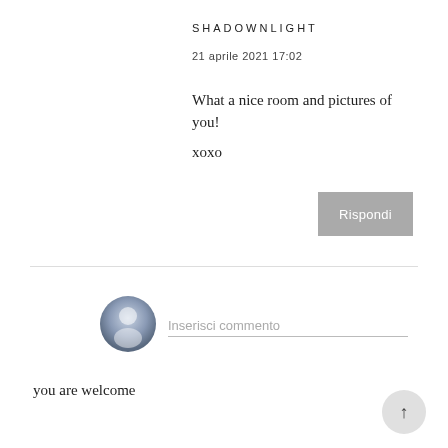SHADOWNLIGHT
21 aprile 2021 17:02
What a nice room and pictures of you!
xoxo
Rispondi
[Figure (illustration): User avatar icon — circular grey gradient with a silhouette person shape]
Inserisci commento
you are welcome
↑